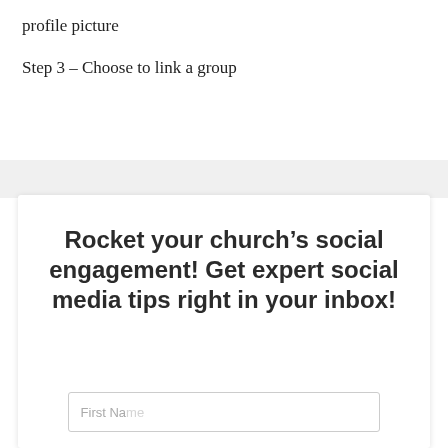profile picture
Step 3 – Choose to link a group
[Figure (screenshot): Screenshot placeholder area showing a grey region]
Rocket your church's social engagement! Get expert social media tips right in your inbox!
First Name